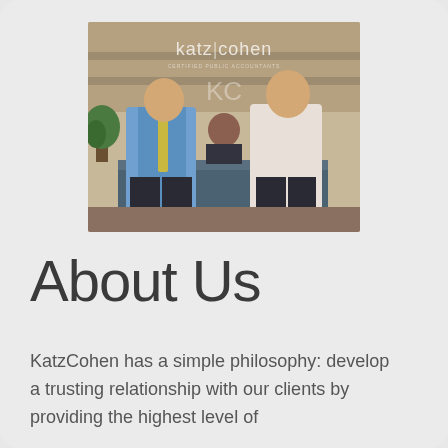[Figure (photo): Three people standing at a reception desk with a 'katz cohen' sign on the wall behind them. Two men in business attire stand on either side of a woman. The office reception area has a modern design with a dark grey desk.]
About Us
KatzCohen has a simple philosophy: develop a trusting relationship with our clients by providing the highest level of